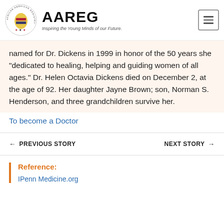[Figure (logo): African American Registry (AAREG) logo with Africa map graphic and circular text, alongside AAREG wordmark and tagline 'Inspiring the Young Minds of our Future.']
named for Dr. Dickens in 1999 in honor of the 50 years she "dedicated to healing, helping and guiding women of all ages." Dr. Helen Octavia Dickens died on December 2, at the age of 92. Her daughter Jayne Brown; son, Norman S. Henderson, and three grandchildren survive her.
To become a Doctor
← PREVIOUS STORY
NEXT STORY →
Reference:
IPenn Medicine.org